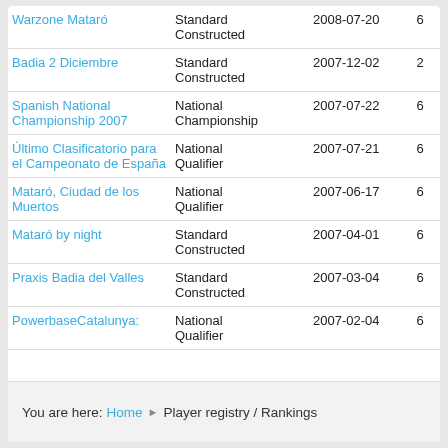| Name | Type | Date | N | Score |  |
| --- | --- | --- | --- | --- | --- |
| Warzone Mataró | Standard Constructed | 2008-07-20 | 6 | 02.5 | 0 |
| Badia 2 Diciembre | Standard Constructed | 2007-12-02 | 2 | 16.0 | 0 |
| Spanish National Championship 2007 | National Championship | 2007-07-22 | 6 | 01.0 | 0 |
| Último Clasificatorio para el Campeonato de España | National Qualifier | 2007-07-21 | 6 | 00.5 | 0 |
| Mataró, Ciudad de los Muertos | National Qualifier | 2007-06-17 | 6 | 01.0 | 0 |
| Mataró by night | Standard Constructed | 2007-04-01 | 6 | 02.0 | 0 |
| Praxis Badia del Valles | Standard Constructed | 2007-03-04 | 6 | 13.5 | 0 |
| PowerbaseCatalunya: | National Qualifier | 2007-02-04 | 6 | 00.5 | 0 |
You are here: Home ▶ Player registry / Rankings